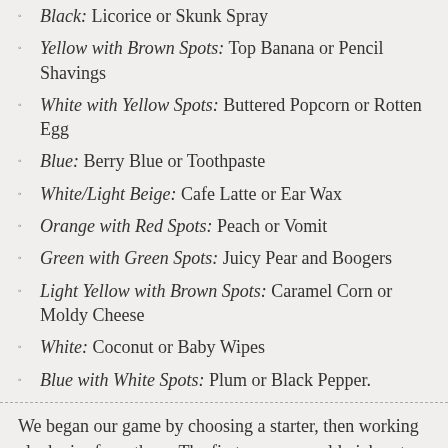Black: Licorice or Skunk Spray
Yellow with Brown Spots: Top Banana or Pencil Shavings
White with Yellow Spots: Buttered Popcorn or Rotten Egg
Blue: Berry Blue or Toothpaste
White/Light Beige: Cafe Latte or Ear Wax
Orange with Red Spots: Peach or Vomit
Green with Green Spots: Juicy Pear and Boogers
Light Yellow with Brown Spots: Caramel Corn or Moldy Cheese
White: Coconut or Baby Wipes
Blue with White Spots: Plum or Black Pepper.
We began our game by choosing a starter, then working clockwise from there. The first person would pick out two